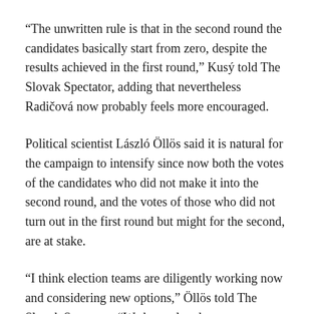“The unwritten rule is that in the second round the candidates basically start from zero, despite the results achieved in the first round,” Kusý told The Slovak Spectator, adding that nevertheless Radičová now probably feels more encouraged.
Political scientist László Öllös said it is natural for the campaign to intensify since now both the votes of the candidates who did not make it into the second round, and the votes of those who did not turn out in the first round but might for the second, are at stake.
“I think election teams are diligently working now and considering new options,” Öllös told The Slovak Spectator. “We have already seen some, since the Hungarian card has also been played.”